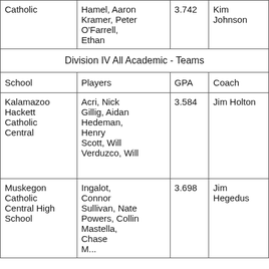| School | Players | GPA | Coach |
| --- | --- | --- | --- |
| Catholic | Hamel, Aaron
Kramer, Peter
O'Farrell, Ethan | 3.742 | Kim Johnson |
| Division IV All Academic - Teams |  |  |  |
| School | Players | GPA | Coach |
| Kalamazoo Hackett Catholic Central | Acri, Nick
Gillig, Aidan
Hedeman, Henry
Scott, Will
Verduzco, Will | 3.584 | Jim Holton |
| Muskegon Catholic Central High School | Ingalot, Connor
Sullivan, Nate
Powers, Collin
Mastella, Chase
M... | 3.698 | Jim Hegedus |